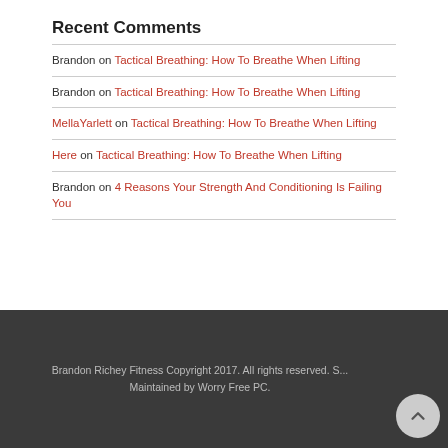Recent Comments
Brandon on Tactical Breathing: How To Breathe When Lifting
Brandon on Tactical Breathing: How To Breathe When Lifting
MellaYarlett on Tactical Breathing: How To Breathe When Lifting
Here on Tactical Breathing: How To Breathe When Lifting
Brandon on 4 Reasons Your Strength And Conditioning Is Failing You
Brandon Richey Fitness Copyright 2017. All rights reserved. S... Maintained by Worry Free PC.